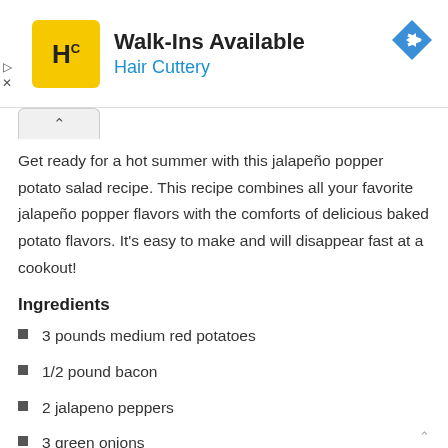[Figure (logo): Hair Cuttery advertisement banner with yellow HC logo, 'Walk-Ins Available' headline, 'Hair Cuttery' subtitle in blue, and a blue navigation icon on the right]
Get ready for a hot summer with this jalapeño popper potato salad recipe. This recipe combines all your favorite jalapeño popper flavors with the comforts of delicious baked potato flavors. It's easy to make and will disappear fast at a cookout!
Ingredients
3 pounds medium red potatoes
1/2 pound bacon
2 jalapeno peppers
3 green onions
8 oz block cream cheese